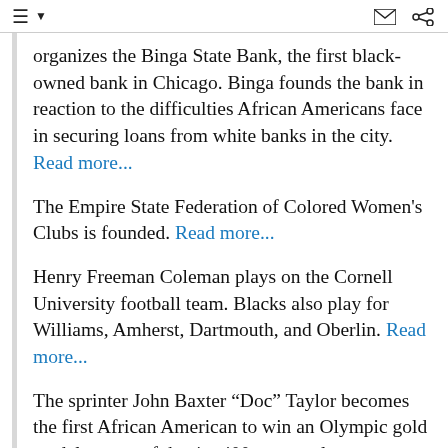≡ ▼  [envelope icon] [share icon]
organizes the Binga State Bank, the first black-owned bank in Chicago. Binga founds the bank in reaction to the difficulties African Americans face in securing loans from white banks in the city. Read more...
The Empire State Federation of Colored Women's Clubs is founded. Read more...
Henry Freeman Coleman plays on the Cornell University football team. Blacks also play for Williams, Amherst, Dartmouth, and Oberlin. Read more...
The sprinter John Baxter “Doc” Taylor becomes the first African American to win an Olympic gold medal as part of the 4 x 400-meter relay team, running with three white teammates—a team that defies the national trend toward...